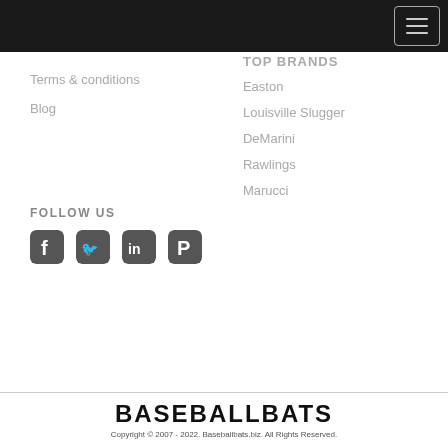[Navigation bar with hamburger menu]
Terms & conditions
Blog
TOP BRANDS
Easton
Louisville Slugger
DeMarini
Rawlings
Marucci
FOLLOW US
[Figure (infographic): Social media icons: Facebook, Twitter, LinkedIn, Pinterest]
BASEBALLBATS
Copyright © 2007 - 2022. Baseballbats.biz. All Rights Reserved.